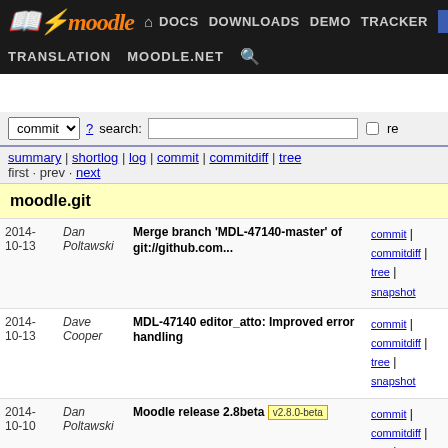moodle DOCS DOWNLOADS DEMO TRACKER DEV | TRANSLATION MOODLE.NET
commit search: [input] re
summary | shortlog | log | commit | commitdiff | tree
first · prev · next
moodle.git
| Date | Author | Message | Links |
| --- | --- | --- | --- |
| 2014-10-13 | Dan Poltawski | Merge branch 'MDL-47140-master' of git://github.com... | commit | commitdiff | tree | snapshot |
| 2014-10-13 | Dave Cooper | MDL-47140 editor_atto: Improved error handling | commit | commitdiff | tree | snapshot |
| 2014-10-10 | Dan Poltawski | Moodle release 2.8beta  v2.8.0-beta | commit | commitdiff | tree | snapshot |
| 2014-10-10 | Dan Poltawski | NOBUG: Fixed file access permissions | commit | commitdiff | tree | snapshot |
| 2014-10-10 | Dan Poltawski | NOBUG: Fixed SVG browser compatibility | commit | commitdiff | tree | snapshot |
| 2014-10-10 | Dan Poltawski | Merge branch 'install_master' of https://git.in.moodle... | commit | commitdiff | tree | snapshot |